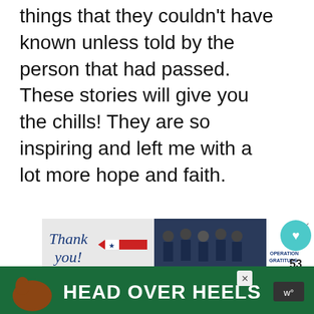things that they couldn't have known unless told by the person that had passed. These stories will give you the chills! They are so inspiring and left me with a lot more hope and faith.
[Figure (photo): Advertisement banner for Operation Gratitude showing 'Thank you!' text with a pencil, group of first responders in navy uniforms, and the Operation Gratitude logo with a star.]
[Figure (screenshot): Heart/like button (teal circle with heart icon), count of 53, and share button below it on the right side of the page.]
[Figure (screenshot): WHAT'S NEXT arrow label with thumbnail and text 'Butternut Squash Sou...' on the lower right.]
[Figure (photo): Bottom advertisement banner with green background showing a dog and bold white text 'HEAD OVER HEELS' with a close button and streaming service logo.]